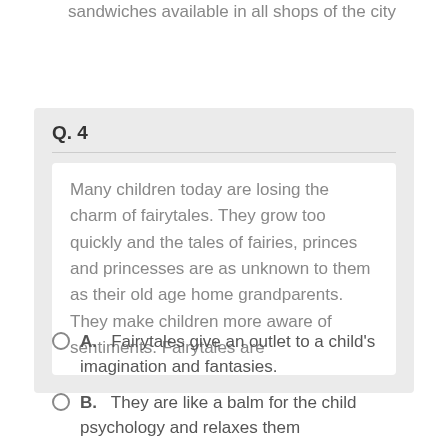sandwiches available in all shops of the city
Q. 4
Many children today are losing the charm of fairytales. They grow too quickly and the tales of fairies, princes and princesses are as unknown to them as their old age home grandparents. They make children more aware of sentiments. Fairytales are
A.   Fairytales give an outlet to a child's imagination and fantasies.
B.   They are like a balm for the child psychology and relaxes them